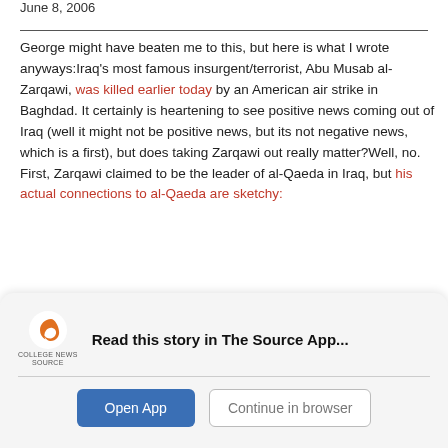June 8, 2006
George might have beaten me to this, but here is what I wrote anyways:Iraq’s most famous insurgent/terrorist, Abu Musab al-Zarqawi, was killed earlier today by an American air strike in Baghdad. It certainly is heartening to see positive news coming out of Iraq (well it might not be positive news, but its not negative news, which is a first), but does taking Zarqawi out really matter?Well, no. First, Zarqawi claimed to be the leader of al-Qaeda in Iraq, but his actual connections to al-Qaeda are sketchy:
[Figure (other): App promotion banner with College News Source logo, text 'Read this story in The Source App...', and two buttons: 'Open App' and 'Continue in browser']